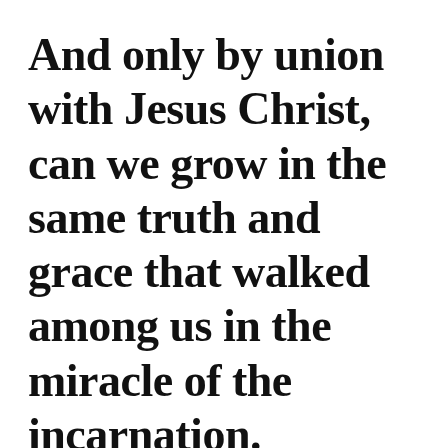And only by union with Jesus Christ, can we grow in the same truth and grace that walked among us in the miracle of the incarnation.